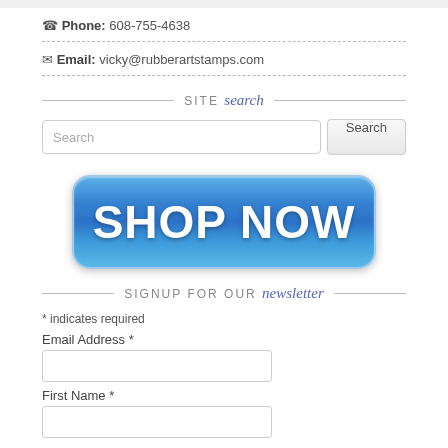Phone: 608-755-4638
Email: vicky@rubberartstamps.com
SITE search
Search [input field] Search [button]
[Figure (other): SHOP NOW button - large blue rounded rectangle button with white bold text 'SHOP NOW']
SIGNUP FOR OUR newsletter
* indicates required
Email Address *
First Name *